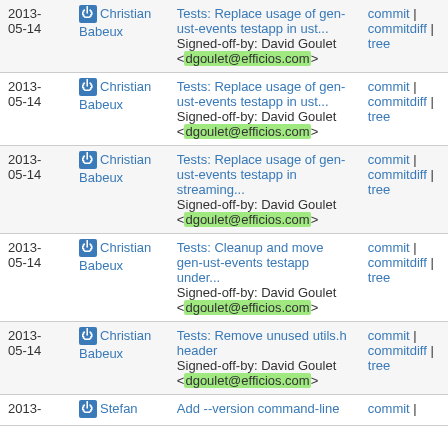| Date | Author | Commit message | Links |
| --- | --- | --- | --- |
| 2013-05-14 | Christian Babeux | Tests: Replace usage of gen-ust-events testapp in ust...
Signed-off-by: David Goulet <dgoulet@efficios.com> | commit | commitdiff | tree |
| 2013-05-14 | Christian Babeux | Tests: Replace usage of gen-ust-events testapp in ust...
Signed-off-by: David Goulet <dgoulet@efficios.com> | commit | commitdiff | tree |
| 2013-05-14 | Christian Babeux | Tests: Replace usage of gen-ust-events testapp in streaming...
Signed-off-by: David Goulet <dgoulet@efficios.com> | commit | commitdiff | tree |
| 2013-05-14 | Christian Babeux | Tests: Cleanup and move gen-ust-events testapp under...
Signed-off-by: David Goulet <dgoulet@efficios.com> | commit | commitdiff | tree |
| 2013-05-14 | Christian Babeux | Tests: Remove unused utils.h header
Signed-off-by: David Goulet <dgoulet@efficios.com> | commit | commitdiff | tree |
| 2013- | Stefan | Add --version command-line | commit | |